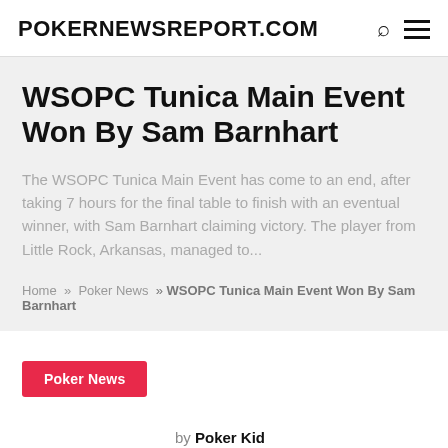POKERNEWSREPORT.COM
WSOPC Tunica Main Event Won By Sam Barnhart
The WSOPC Tunica Main Event has come to an end, after taking 7 hours for the final table to finish with an eventual winner, with Sam Barnhart claiming victory. The player from Little Rock, Arkansas, managed to...
Home » Poker News » WSOPC Tunica Main Event Won By Sam Barnhart
Poker News
by Poker Kid
February 18, 2011   0